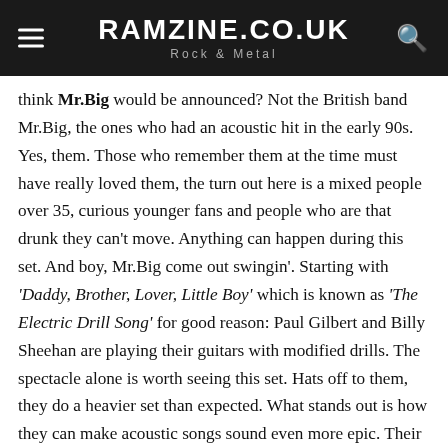RAMZINE.CO.UK — Rock & Metal
think Mr.Big would be announced? Not the British band Mr.Big, the ones who had an acoustic hit in the early 90s. Yes, them. Those who remember them at the time must have really loved them, the turn out here is a mixed people over 35, curious younger fans and people who are that drunk they can't move. Anything can happen during this set. And boy, Mr.Big come out swingin'. Starting with 'Daddy, Brother, Lover, Little Boy' which is known as 'The Electric Drill Song' for good reason: Paul Gilbert and Billy Sheehan are playing their guitars with modified drills. The spectacle alone is worth seeing this set. Hats off to them, they do a heavier set than expected. What stands out is how they can make acoustic songs sound even more epic. Their cover of 'Wild World', described as 'not the most metal song you will hear all weekend' by front-man Eric Martin, is actually very refreshing. Doesn't matter how 'metal' you are – you can't argue with good musicianship. The second acoustic song is the famous 'To Be With You' people can't decide if they like this song or not. Overall a